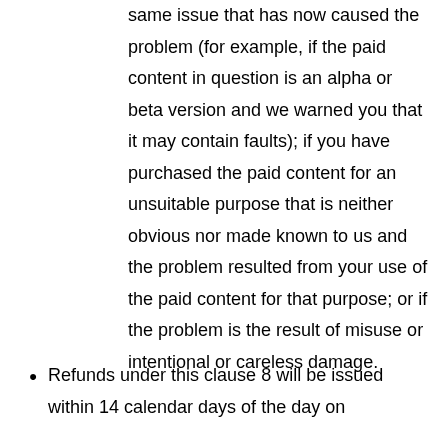same issue that has now caused the problem (for example, if the paid content in question is an alpha or beta version and we warned you that it may contain faults); if you have purchased the paid content for an unsuitable purpose that is neither obvious nor made known to us and the problem resulted from your use of the paid content for that purpose; or if the problem is the result of misuse or intentional or careless damage.
Refunds under this clause 8 will be issued within 14 calendar days of the day on